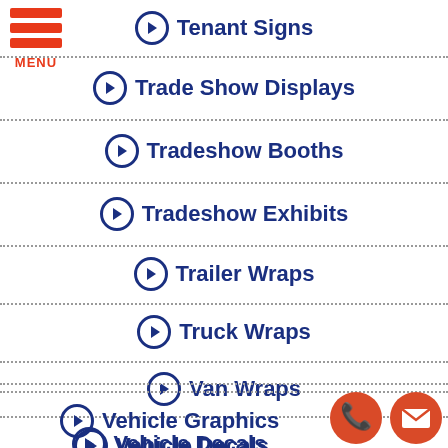Tenant Signs
Trade Show Displays
Tradeshow Booths
Tradeshow Exhibits
Trailer Wraps
Truck Wraps
Van Wraps
Vehicle Decals
Vehicle Graphics
[Figure (other): Menu icon with three horizontal red bars and MENU label]